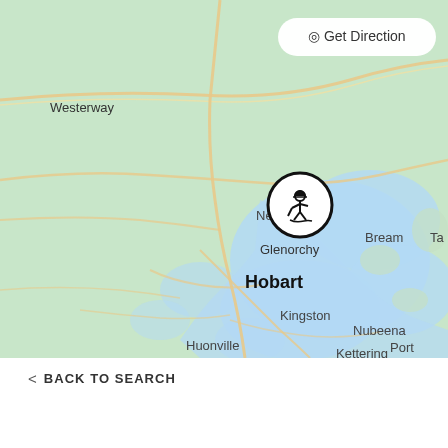[Figure (map): Map of Hobart region, Tasmania, Australia showing a construction/worker pin marker at Glenorchy. Visible place names include Westerway, New Norfolk, Glenorchy, Hobart, Bream, Kingston, Huonville, Franklin, Nubeena, Port, Kettering, Geeveston, Cygnet. A 'Get Direction' button appears in the top right corner. The map uses a green land background and light blue for water bodies with tan/yellow road lines.]
< BACK TO SEARCH